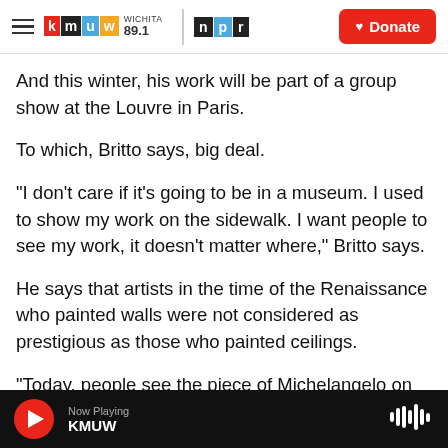KMUW WICHITA 89.1 | NPR | Donate
And this winter, his work will be part of a group show at the Louvre in Paris.
To which, Britto says, big deal.
"I don't care if it's going to be in a museum. I used to show my work on the sidewalk. I want people to see my work, it doesn't matter where," Britto says.
He says that artists in the time of the Renaissance who painted walls were not considered as prestigious as those who painted ceilings.
"Today, people see the piece of Michelangelo on
Now Playing KMUW